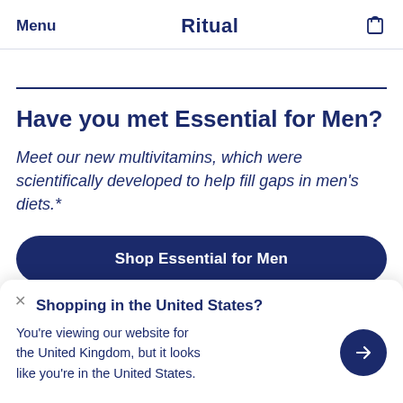Menu  Ritual  [cart icon]
Have you met Essential for Men?
Meet our new multivitamins, which were scientifically developed to help fill gaps in men's diets.*
Shop Essential for Men
Shopping in the United States?
You're viewing our website for the United Kingdom, but it looks like you're in the United States.